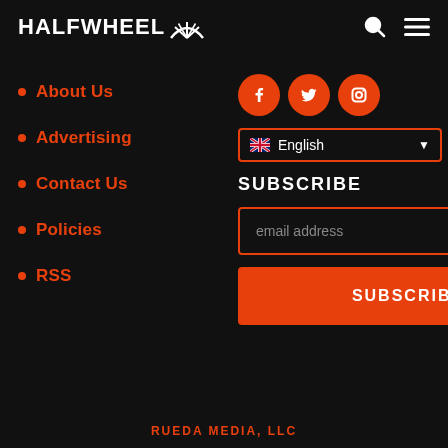HALFWHEEL
About Us
Advertising
Contact Us
Policies
RSS
[Figure (logo): Social media icons: Facebook, Twitter, Instagram — orange circles with white icons]
English (language selector dropdown)
SUBSCRIBE
email address
SUBSCRIBE (button)
RUEDA MEDIA, LLC